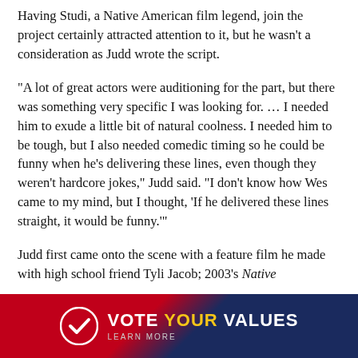Having Studi, a Native American film legend, join the project certainly attracted attention to it, but he wasn't a consideration as Judd wrote the script.
“A lot of great actors were auditioning for the part, but there was something very specific I was looking for. … I needed him to exude a little bit of natural coolness. I needed him to be tough, but I also needed comedic timing so he could be funny when he’s delivering these lines, even though they weren’t hardcore jokes,” Judd said. “I don’t know how Wes came to my mind, but I thought, ‘If he delivered these lines straight, it would be funny.’”
Judd first came onto the scene with a feature film he made with high school friend Tyli Jacob; 2003’s Native
[Figure (infographic): Vote Your Values banner advertisement with dark blue and red gradient background, circular checkmark logo on left, and text 'VOTE YOUR VALUES' with 'LEARN MORE' subtitle]